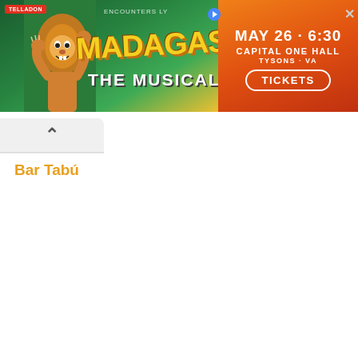[Figure (screenshot): Advertisement banner for Madagascar The Musical at Capital One Hall, Tysons VA on May 26 at 6:30, with a lion character on the left, colorful text in the center, and event details with a TICKETS button on the right. Close button and play icon visible. TELLADON and presenter logos shown.]
Bar Tabú